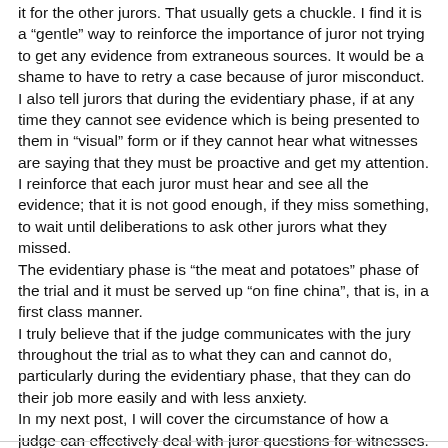it for the other jurors. That usually gets a chuckle. I find it is a "gentle" way to reinforce the importance of juror not trying to get any evidence from extraneous sources. It would be a shame to have to retry a case because of juror misconduct. I also tell jurors that during the evidentiary phase, if at any time they cannot see evidence which is being presented to them in "visual" form or if they cannot hear what witnesses are saying that they must be proactive and get my attention. I reinforce that each juror must hear and see all the evidence; that it is not good enough, if they miss something, to wait until deliberations to ask other jurors what they missed.
The evidentiary phase is "the meat and potatoes" phase of the trial and it must be served up "on fine china", that is, in a first class manner.
I truly believe that if the judge communicates with the jury throughout the trial as to what they can and cannot do, particularly during the evidentiary phase, that they can do their job more easily and with less anxiety.
In my next post, I will cover the circumstance of how a judge can effectively deal with juror questions for witnesses.